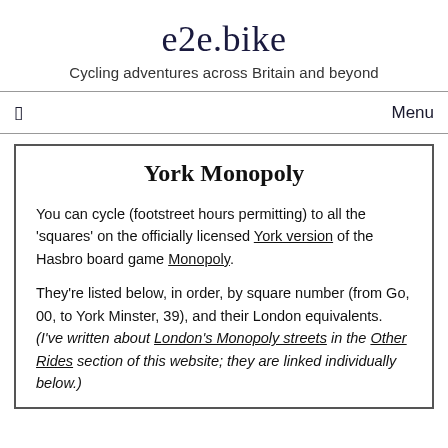e2e.bike
Cycling adventures across Britain and beyond
☐   Menu
York Monopoly
You can cycle (footstreet hours permitting) to all the 'squares' on the officially licensed York version of the Hasbro board game Monopoly.
They're listed below, in order, by square number (from Go, 00, to York Minster, 39), and their London equivalents. (I've written about London's Monopoly streets in the Other Rides section of this website; they are linked individually below.)